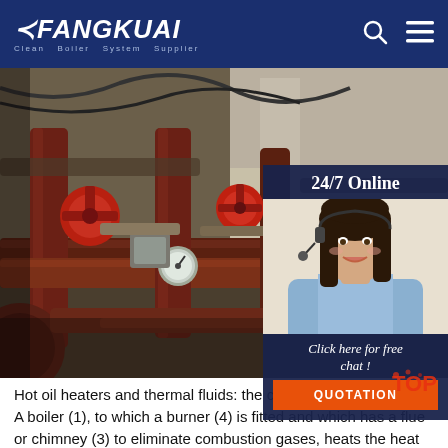FANGKUAI — Clean Boiler System Supplier
[Figure (photo): Industrial boiler piping system with red valves, gauges, and large pipes in a mechanical room]
24/7 Online
[Figure (photo): Female customer service agent wearing a headset, smiling]
Click here for free chat !
QUOTATION
Hot oil heaters and thermal fluids: the complete g… A boiler (1), to which a burner (4) is fitted and which has a flue or chimney (3) to eliminate combustion gases, heats the heat transfer fluid (in the case of domestic central heating – water), which by means of pipes (5), reaches the consumer appliance (2, this example – radiators), where the energy is given out and it then returns ...